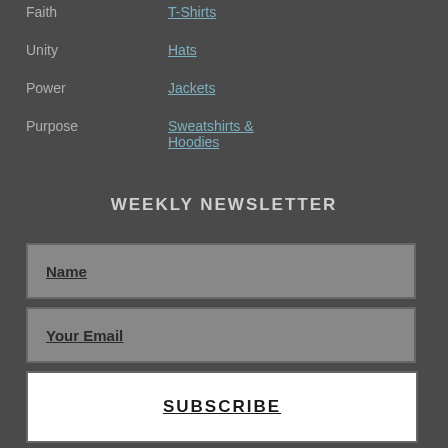Faith
Unity
Power
Purpose
T-Shirts
Hats
Jackets
Sweatshirts & Hoodies
WEEKLY NEWSLETTER
Name
Your Email
SUBSCRIBE